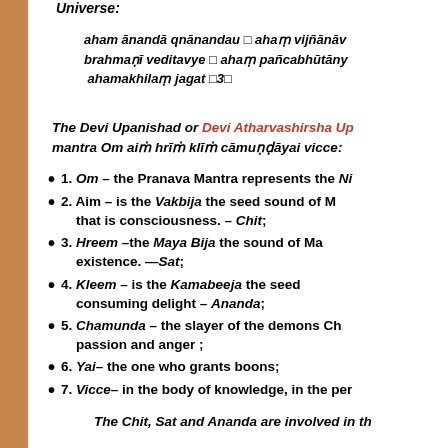universe:
The Devi Upanishad or Devi Atharvashirsha Up mantra Om aiṁ hrīṁ klīṁ cāmuṇḍāyai vicce:
1. Om – the Pranava Mantra represents the Ni
2. Aim – is the Vakbija the seed sound of M that is consciousness. – Chit;
3. Hreem –the Maya Bija the sound of Ma existence. —Sat;
4. Kleem – is the Kamabeeja the seed consuming delight – Ananda;
5. Chamunda – the slayer of the demons Ch passion and anger ;
6. Yai– the one who grants boons;
7. Vicce– in the body of knowledge, in the per
The Chit, Sat and Ananda are involved in th